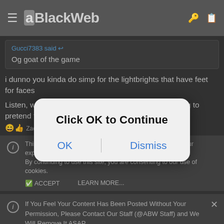aBlackWeb
Gucci7383 said:
Og goat of the game
i dunno you kinda do simp for the lightbrights that have feet for faces
Listen, we all have implicit biases. It serves us nothing to pretend that we don't
This site uses cookies to help personalise content, tailor your experience and to keep you logged in if you register.
By continuing to use this site, you are consenting to our use of cookies.
If You Feel Your Content Has Been Posted Without Your Permission, Please Contact Our Staff (@ABW Staff) and We Will Remove It ASAP.
[Figure (screenshot): Modal dialog overlay with text 'Click OK to Continue' and two buttons: OK and Dismiss]